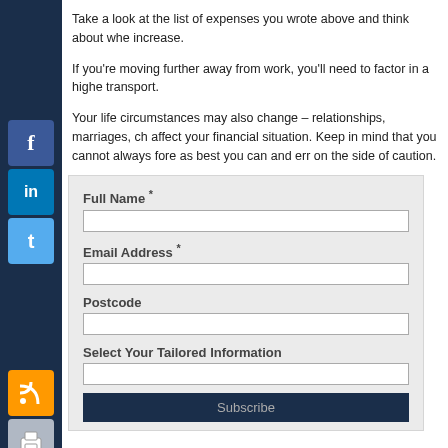Take a look at the list of expenses you wrote above and think about whe increase.
If you're moving further away from work, you'll need to factor in a highe transport.
Your life circumstances may also change – relationships, marriages, ch affect your financial situation. Keep in mind that you cannot always fore as best you can and err on the side of caution.
[Figure (other): Web form with fields for Full Name, Email Address, Postcode, Select Your Tailored Information, and a Subscribe button, on a light grey background]
Full Name *
Email Address *
Postcode
Select Your Tailored Information